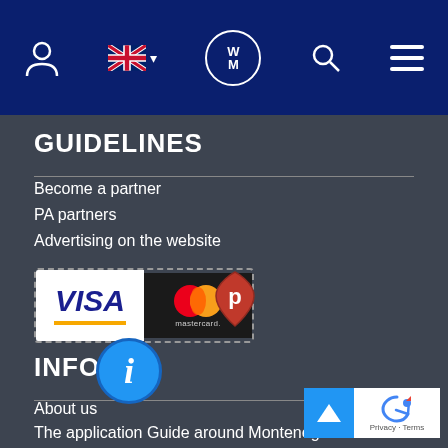[Figure (screenshot): Navigation bar with user icon, UK flag language selector, WM logo circle, search icon, and hamburger menu on dark navy background]
GUIDELINES
Become a partner
PA partners
Advertising on the website
[Figure (logo): VISA and Mastercard payment logos inside dashed border box]
[Figure (logo): Red shield with P letter price tag icon]
INFO
About us
The application Guide around Montenegro
Site map
Travel insurance
Events calendar
Map Montenegro